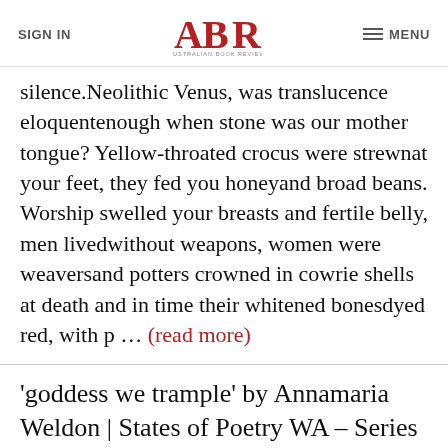SIGN IN | ABR AUSTRALIAN BOOK REVIEW | MENU
silence.Neolithic Venus, was translucence eloquentenough when stone was our mother tongue? Yellow-throated crocus were strewnat your feet, they fed you honeyand broad beans. Worship swelled your breasts and fertile belly, men livedwithout weapons, women were weaversand potters crowned in cowrie shells at death and in time their whitened bonesdyed red, with p ... (read more)
'goddess we trample' by Annamaria Weldon | States of Poetry WA – Series